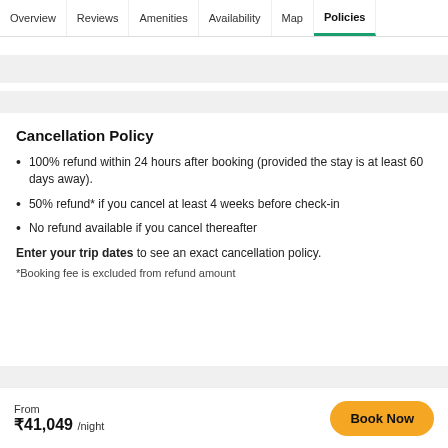Overview | Reviews | Amenities | Availability | Map | Policies
Cancellation Policy
100% refund within 24 hours after booking (provided the stay is at least 60 days away).
50% refund* if you cancel at least 4 weeks before check-in
No refund available if you cancel thereafter
Enter your trip dates to see an exact cancellation policy.
*Booking fee is excluded from refund amount
From ₹41,049 /night  Book Now